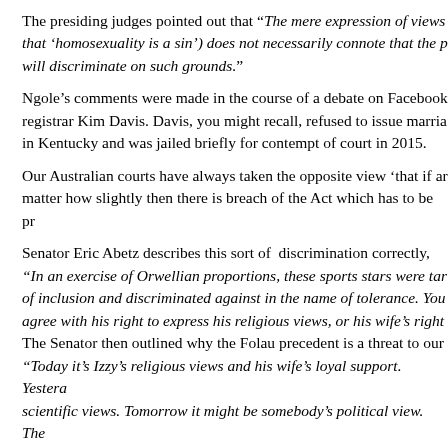The presiding judges pointed out that “The mere expression of views that ‘homosexuality is a sin’) does not necessarily connote that the p will discriminate on such grounds.”
Ngole’s comments were made in the course of a debate on Facebook registrar Kim Davis. Davis, you might recall, refused to issue marria in Kentucky and was jailed briefly for contempt of court in 2015.
Our Australian courts have always taken the opposite view ‘that if ar matter how slightly then there is breach of the Act which has to be pr
Senator Eric Abetz describes this sort of  discrimination correctly, “In an exercise of Orwellian proportions, these sports stars were tar of inclusion and discriminated against in the name of tolerance. You agree with his right to express his religious views, or his wife’s right The Senator then outlined why the Folau precedent is a threat to our “Today it’s Izzy’s religious views and his wife’s loyal support. Yestera scientific views. Tomorrow it might be somebody’s political view. The environmental view. This is a fight for freedom of speech which impa must, and I am confident will, respond to the expressions of the quie ensure our freedoms, which were bought with the highest of prices, a squandered on the altar of political correctness.”
Any normal Australian who does not have the financial backing or p Folau stands no chance before government selected Tribunals, comp